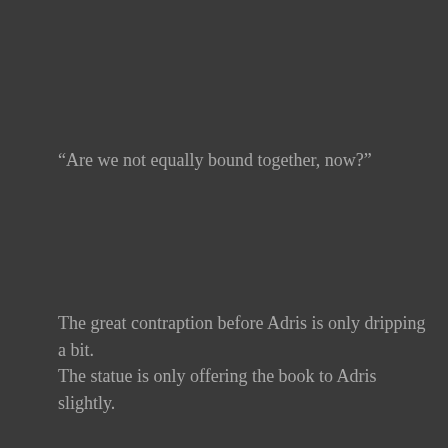“Are we not equally bound together, now?”
The great contraption before Adris is only dripping a bit.
The statue is only offering the book to Adris slightly.
Though her hands have stopped, the music still plays, filled with grandiosity which is misplaced in this quiet conversation.